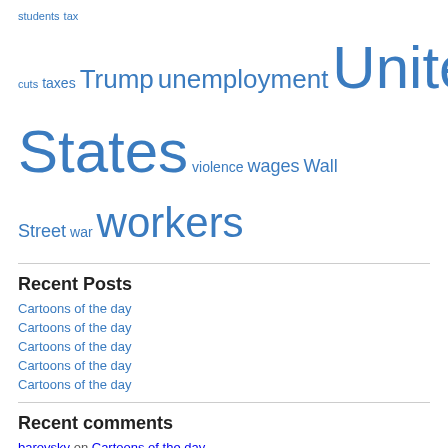students tax cuts taxes Trump unemployment United States violence wages Wall Street war workers
Recent Posts
Cartoons of the day
Cartoons of the day
Cartoons of the day
Cartoons of the day
Cartoons of the day
Recent comments
barovsky on Cartoons of the day
Inflation, wages, and profits / by David Ruccio on It's official-update 18
Inflation, wages, and profits / by David Ruccio on End of Economics and